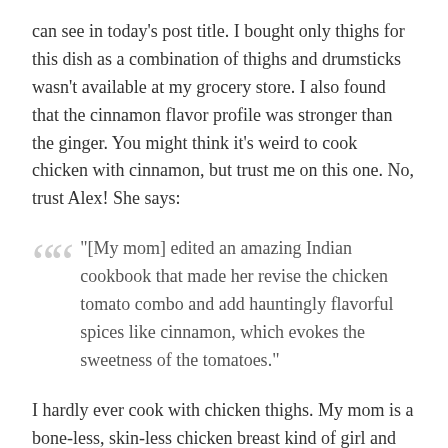can see in today's post title. I bought only thighs for this dish as a combination of thighs and drumsticks wasn't available at my grocery store. I also found that the cinnamon flavor profile was stronger than the ginger. You might think it's weird to cook chicken with cinnamon, but trust me on this one. No, trust Alex! She says:
"[My mom] edited an amazing Indian cookbook that made her revise the chicken tomato combo and add hauntingly flavorful spices like cinnamon, which evokes the sweetness of the tomatoes."
I hardly ever cook with chicken thighs. My mom is a bone-less, skin-less chicken breast kind of girl and